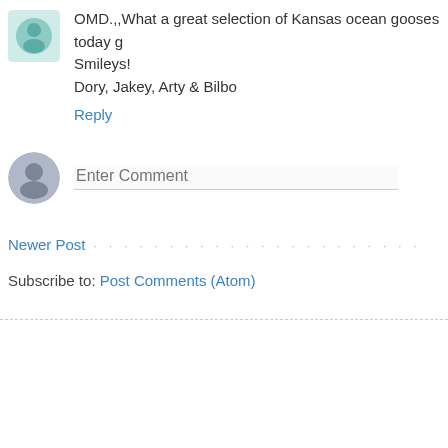OMD.,,What a great selection of Kansas ocean gooses today g Smileys!
Dory, Jakey, Arty & Bilbo
Reply
[Figure (illustration): Generic user avatar circle with person silhouette, grey tones]
Enter Comment
Newer Post
Subscribe to: Post Comments (Atom)